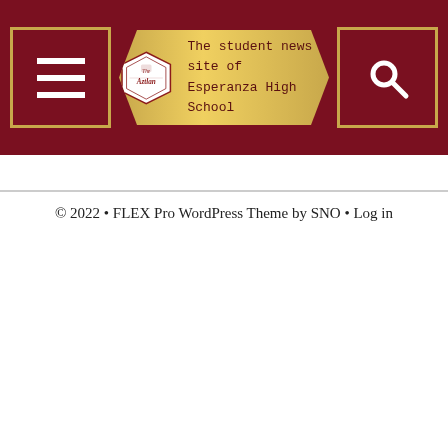[Figure (logo): The Aztlan student news site header with menu button, logo banner with hexagon shape reading 'The Aztlan' and 'The student news site of Esperanza High School', and search button, all on dark red background]
© 2022 • FLEX Pro WordPress Theme by SNO • Log in